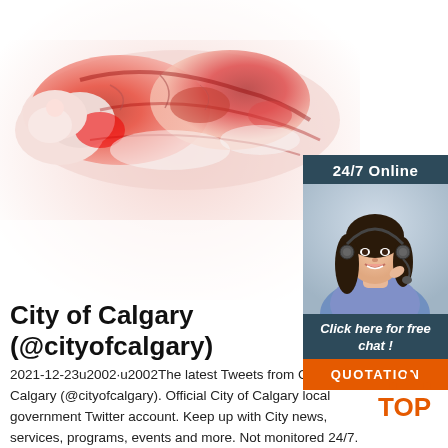[Figure (photo): Close-up photo of raw meat/bones with red flesh visible]
[Figure (photo): Advertisement panel: '24/7 Online' with a smiling female customer service agent wearing headset, 'Click here for free chat!' text and orange QUOTATION button]
City of Calgary (@cityofcalgary)
2021-12-23u2002·u2002The latest Tweets from City of Calgary (@cityofcalgary). Official City of Calgary local government Twitter account. Keep up with City news, services, programs, events and more. Not monitored 24/7.